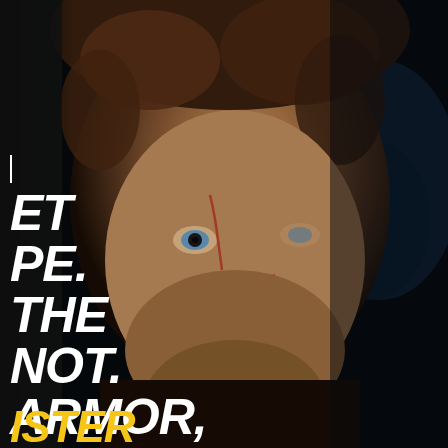[Figure (photo): Close-up portrait of Tyrion Lannister (Peter Dinklage) from Game of Thrones, showing his face with scars, set against a dark dramatic background with another figure partially visible on the right side.]
— / ET / PE. / THE / NOT. / ARMOR, / IEVER BE / T YOU.
ISTER